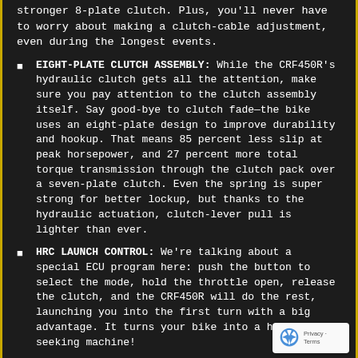stronger 8-plate clutch. Plus, you'll never have to worry about making a clutch-cable adjustment, even during the longest events.
EIGHT-PLATE CLUTCH ASSEMBLY: While the CRF450R's hydraulic clutch gets all the attention, make sure you pay attention to the clutch assembly itself. Say good-bye to clutch fade—the bike uses an eight-plate design to improve durability and hookup. That means 85 percent less slip at peak horsepower, and 27 percent more total torque transmission through the clutch pack over a seven-plate clutch. Even the spring is super strong for better lockup, but thanks to the hydraulic actuation, clutch-lever pull is lighter than ever.
HRC LAUNCH CONTROL: We're talking about a special ECU program here: push the button to select the mode, hold the throttle open, release the clutch, and the CRF450R will do the rest, launching you into the first turn with a big advantage. It turns your bike into a holeshot-seeking machine!